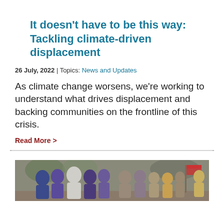It doesn't have to be this way: Tackling climate-driven displacement
26 July, 2022 | Topics: News and Updates
As climate change worsens, we're working to understand what drives displacement and backing communities on the frontline of this crisis.
Read More >
[Figure (photo): Group of people, many wearing blue and purple headscarves or burqas, gathered in an outdoor setting with trees and a flag visible in the background.]
Supporting Afghans uprooted from their homes